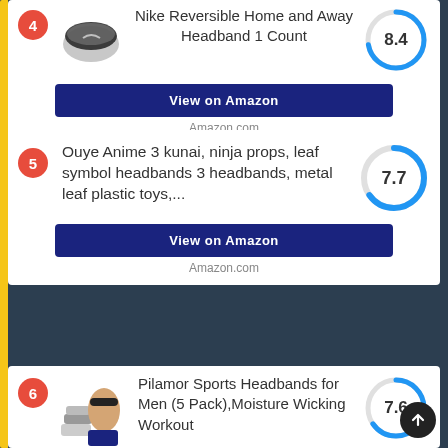4 - Nike Reversible Home and Away Headband 1 Count - Score: 8.4
View on Amazon
Amazon.com
5 - Ouye Anime 3 kunai, ninja props, leaf symbol headbands 3 headbands, metal leaf plastic toys,... - Score: 7.7
View on Amazon
Amazon.com
6 - Pilamor Sports Headbands for Men (5 Pack),Moisture Wicking Workout - Score: 7.6